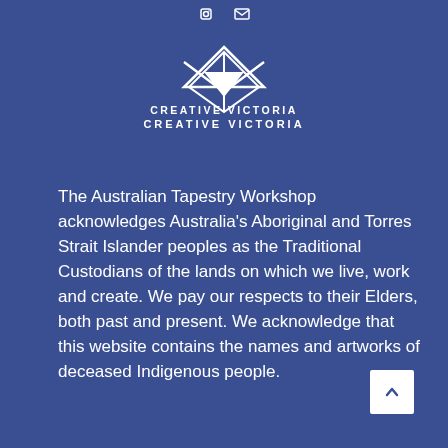[Figure (logo): Creative Victoria logo — white text CREATIVE VICTORIA with a downward-pointing triangle/chevron above the text]
The Australian Tapestry Workshop acknowledges Australia's Aboriginal and Torres Strait Islander peoples as the Traditional Custodians of the lands on which we live, work and create. We pay our respects to their Elders, both past and present. We acknowledge that this website contains the names and artworks of deceased Indigenous people.
Australian Tapestry Workshop ABN 88 005 758 056
Terms & Conditions Privacy Policy Shipping & Returns Policy